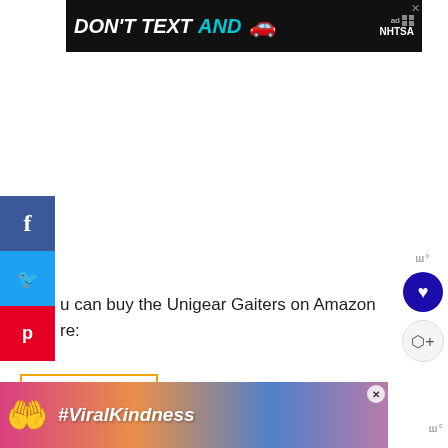[Figure (screenshot): NHTSA 'Don't Text And Drive' advertisement banner with white and cyan text on black background with red car emoji]
[Figure (screenshot): Social media sharing sidebar with Facebook (blue), Twitter (cyan), and Pinterest (red) buttons]
u can buy the Unigear Gaiters on Amazon re:
[Figure (screenshot): Amazon product widget showing dark gaiters product image with Amazon logo and orange arrow]
[Figure (screenshot): What's Next section showing 21 Winter Hiking Tips with mountain thumbnail image]
[Figure (screenshot): #ViralKindness advertisement banner with hands forming heart shape on colorful background]